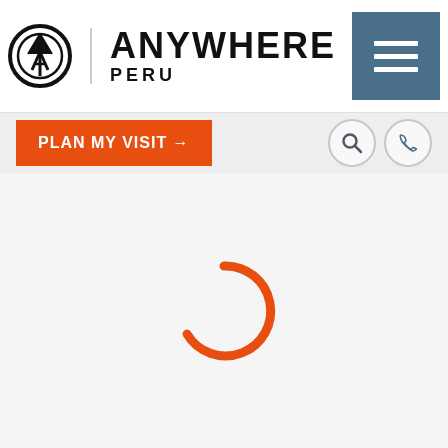[Figure (logo): Anywhere Peru logo with circular compass/mountain icon, vertical divider, and brand name ANYWHERE PERU in bold capitals, plus hamburger menu button in steel blue]
[Figure (infographic): Navigation bar with orange PLAN MY VISIT → button, search icon circle, and phone icon circle]
[Figure (other): Orange loading spinner arc on light grey background, indicating page content is loading]